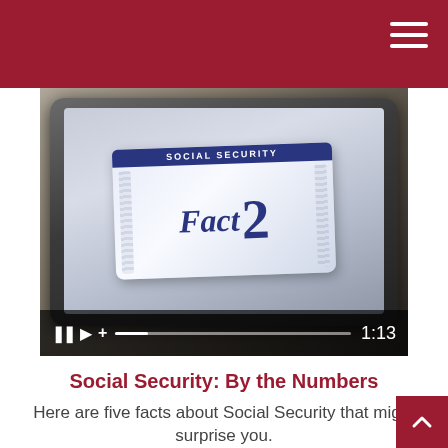[Figure (screenshot): Video thumbnail showing a Social Security card displaying 'Fact 2' on a tablet device, with video playback controls at the bottom showing pause, play, volume icons, a progress bar, and time 1:13]
Social Security: By the Numbers
Here are five facts about Social Security that might surprise you.